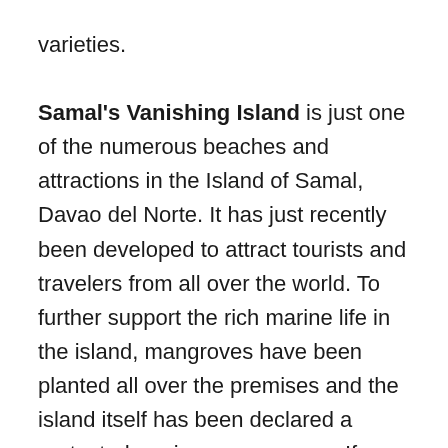varieties. Samal's Vanishing Island is just one of the numerous beaches and attractions in the Island of Samal, Davao del Norte. It has just recently been developed to attract tourists and travelers from all over the world. To further support the rich marine life in the island, mangroves have been planted all over the premises and the island itself has been declared a protected marine reserve area. If you are looking for a vacation spot that's far from traffic, excessive noise, pollution or crowded shopping malls, then